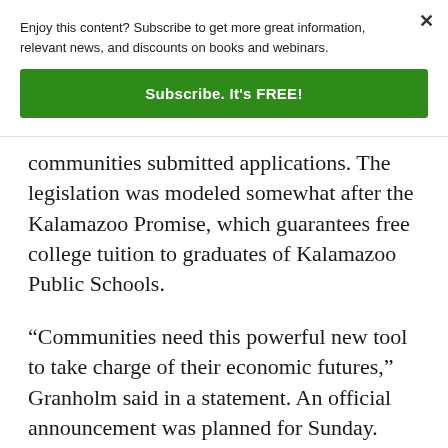Enjoy this content? Subscribe to get more great information, relevant news, and discounts on books and webinars.
Subscribe. It's FREE!
communities submitted applications. The legislation was modeled somewhat after the Kalamazoo Promise, which guarantees free college tuition to graduates of Kalamazoo Public Schools.
“Communities need this powerful new tool to take charge of their economic futures,” Granholm said in a statement. An official announcement was planned for Sunday.